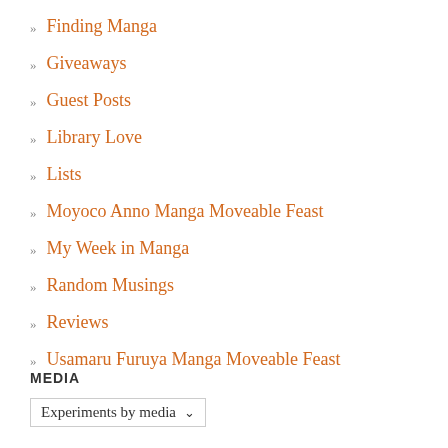Finding Manga
Giveaways
Guest Posts
Library Love
Lists
Moyoco Anno Manga Moveable Feast
My Week in Manga
Random Musings
Reviews
Usamaru Furuya Manga Moveable Feast
MEDIA
Experiments by media